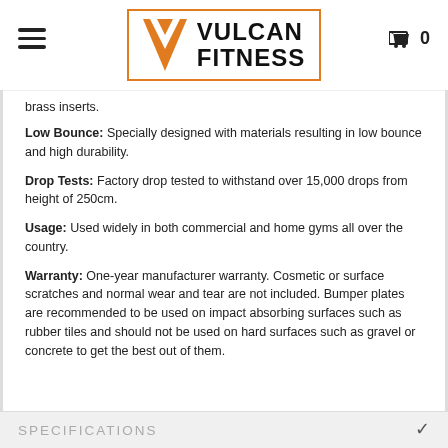Vulcan Fitness
brass inserts.
Low Bounce: Specially designed with materials resulting in low bounce and high durability.
Drop Tests: Factory drop tested to withstand over 15,000 drops from height of 250cm.
Usage: Used widely in both commercial and home gyms all over the country.
Warranty: One-year manufacturer warranty. Cosmetic or surface scratches and normal wear and tear are not included. Bumper plates are recommended to be used on impact absorbing surfaces such as rubber tiles and should not be used on hard surfaces such as gravel or concrete to get the best out of them.
SPECIFICATIONS